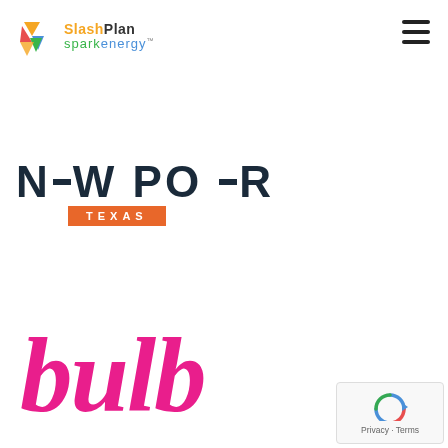[Figure (logo): SlashPlan Spark Energy logo with colorful icon and two-tone text]
[Figure (logo): New Power Texas logo with bold sans-serif text and orange TEXAS badge]
[Figure (logo): Bulb logo in pink cursive handwriting style]
[Figure (logo): Google reCAPTCHA badge with Privacy and Terms links]